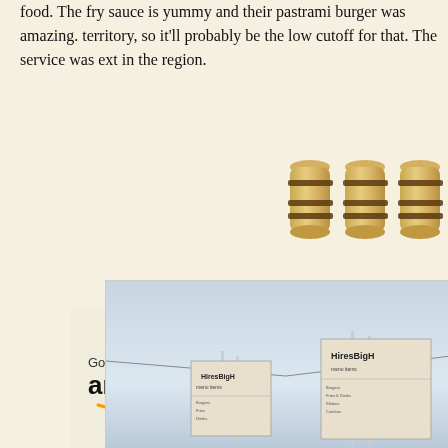food. The fry sauce is yummy and their pastrami burger was amazing. territory, so it'll probably be the low cutoff for that. The service was ext in the region.
[Figure (photo): Three wooden barrel icons arranged in a row, used as a rating indicator]
[Figure (photo): Advertisement banner for Gourmet Foods at amazon.com with dark red and tan background]
[Figure (photo): Exterior photo of Hires Big H restaurant showing outdoor menu signs/boards suspended by cables against a light sky]